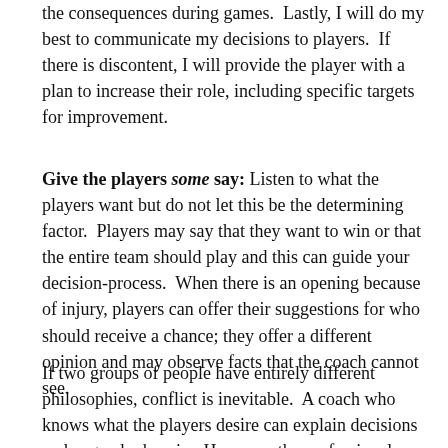the consequences during games.  Lastly, I will do my best to communicate my decisions to players.  If there is discontent, I will provide the player with a plan to increase their role, including specific targets for improvement.
Give the players some say: Listen to what the players want but do not let this be the determining factor.  Players may say that they want to win or that the entire team should play and this can guide your decision-process.  When there is an opening because of injury, players can offer their suggestions for who should receive a chance; they offer a different opinion and may observe facts that the coach cannot see.
If two groups of people have entirely different philosophies, conflict is inevitable.  A coach who knows what the players desire can explain decisions and engender buy-in.  However, the professional judgment of a coach always supersedes the wishes of the players.